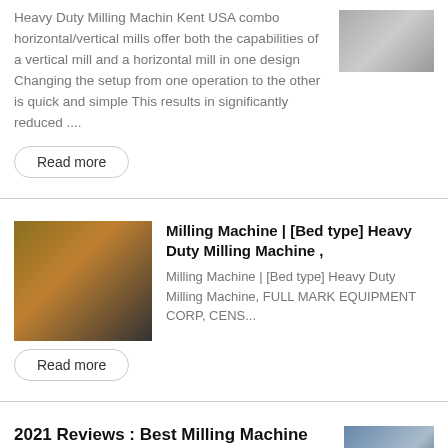Heavy Duty Milling Machin Kent USA combo horizontal/vertical mills offer both the capabilities of a vertical mill and a horizontal mill in one design Changing the setup from one operation to the other is quick and simple This results in significantly reduced ....
[Figure (photo): Photograph of heavy duty milling machine or industrial equipment from above]
Read more
[Figure (photo): Worker in blue overalls and red helmet operating a large milling machine]
Milling Machine | [Bed type] Heavy Duty Milling Machine ,
Milling Machine | [Bed type] Heavy Duty Milling Machine, FULL MARK EQUIPMENT CORP, CENS...
Read more
2021 Reviews : Best Milling Machine for a Home Shop ,
[Figure (photo): Blue milling machine photo, home shop or industrial equipment]